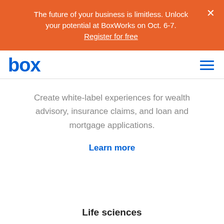The future of your business is limitless. Unlock your potential at BoxWorks on Oct. 6-7. Register for free
[Figure (logo): Box logo in blue with hamburger menu icon]
Create white-label experiences for wealth advisory, insurance claims, and loan and mortgage applications.
Learn more
Life sciences